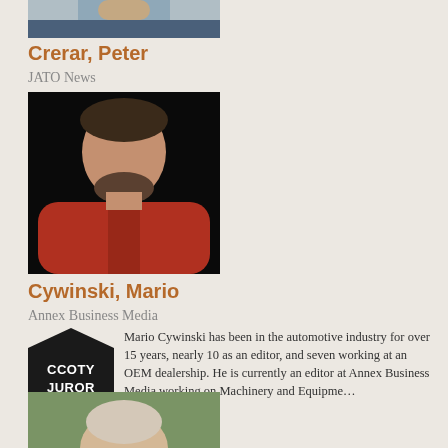[Figure (photo): Partial cropped photo of Peter Crerar at the top of the page]
Crerar, Peter
JATO News
[Figure (photo): Portrait photo of Mario Cywinski in a red shirt against a black background]
Cywinski, Mario
Annex Business Media
[Figure (logo): CCOTY JUROR badge/ribbon logo in teal and black]
Mario Cywinski has been in the automotive industry for over 15 years, nearly 10 as an editor, and seven working at an OEM dealership. He is currently an editor at Annex Business Media working on Machinery and Equipme…
[Figure (photo): Partial photo of another person visible at the bottom of the page]